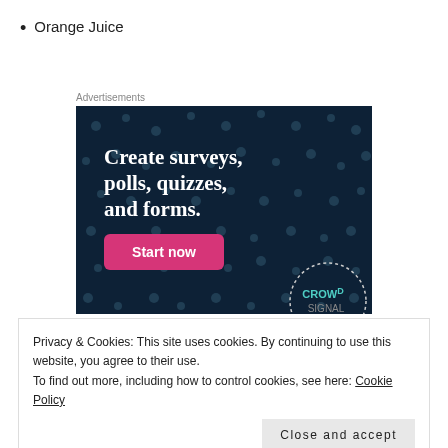Orange Juice
Advertisements
[Figure (illustration): Advertisement banner with dark navy background and dot pattern. Text reads 'Create surveys, polls, quizzes, and forms.' with a pink 'Start now' button and Crowdsignal logo at bottom right.]
Privacy & Cookies: This site uses cookies. By continuing to use this website, you agree to their use.
To find out more, including how to control cookies, see here: Cookie Policy
Close and accept